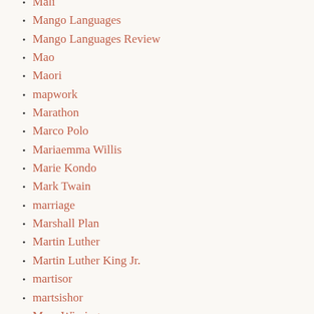Mali
Mango Languages
Mango Languages Review
Mao
Maori
mapwork
Marathon
Marco Polo
Mariaemma Willis
Marie Kondo
Mark Twain
marriage
Marshall Plan
Martin Luther
Martin Luther King Jr.
martisor
martsishor
Mary Wissinger